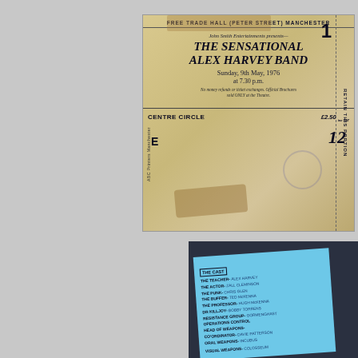[Figure (photo): Concert ticket for The Sensational Alex Harvey Band at Free Trade Hall (Peter Street) Manchester, Sunday 9th May 1976 at 7.30pm. Centre Circle seat E 12, price £2.50 inc VAT. Presented by John Smith Entertainments. Ticket shows age-related staining and a circular stamp.]
[Figure (photo): Programme cast list on blue paper against dark background. Lists THE CAST including THE TEACHER, THE ACTOR, THE PUNK, THE BUFFER, THE PROFESSOR, DR KILLJOY, RESISTANCE GROUP, OPERATIONS CONTROL HEAD OF WEAPONS CO'ORDINATOR, ORAL WEAPONS, VISUAL WEAPONS with various names (partially legible).]